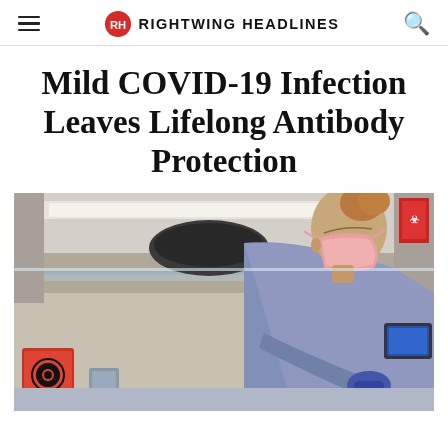RIGHTWING HEADLINES
Mild COVID-19 Infection Leaves Lifelong Antibody Protection
[Figure (photo): A female healthcare worker or lab technician wearing a pink face mask, purple gloves, and light blue scrubs/lab coat, leaning over a laboratory biosafety cabinet. A biohazard symbol is visible on a container in the lower left. A monitor is visible in the background on the right.]